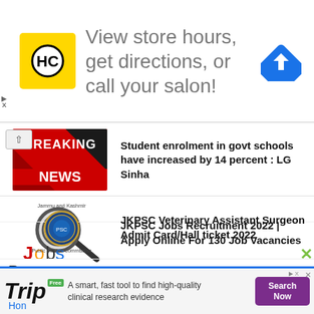[Figure (screenshot): HC (Hair Club) logo — yellow square with HC letters in black circle]
View store hours, get directions, or call your salon!
[Figure (logo): Blue diamond navigation/directions icon with white right-arrow]
[Figure (screenshot): Breaking News thumbnail — red background with BREAKING NEWS text]
Student enrolment in govt schools have increased by 14 percent : LG Sinha
[Figure (illustration): Jobs illustration — magnifying glass over word Jobs]
JKPSC Jobs Recruitment 2022 | Apply Online For 130 Job Vacancies
[Figure (logo): Jammu and Kashmir Public Service Commission seal/logo]
JKPSC Veterinary Assistant Surgeon Admit Card/Hall ticket 2022
Pages
[Figure (screenshot): Trip.com advertisement banner — A smart, fast tool to find high-quality clinical research evidence]
Hon